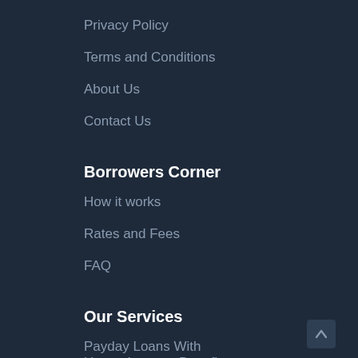Privacy Policy
Terms and Conditions
About Us
Contact Us
Borrowers Corner
How it works
Rates and Fees
FAQ
Our Services
Payday Loans With Unemployment Benefits
Payday Loans For College Students